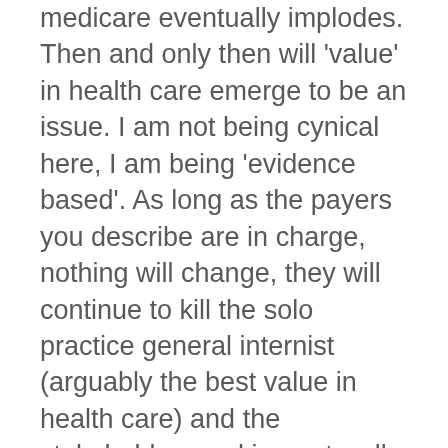medicare eventually implodes. Then and only then will 'value' in health care emerge to be an issue. I am not being cynical here, I am being 'evidence based'. As long as the payers you describe are in charge, nothing will change, they will continue to kill the solo practice general internist (arguably the best value in health care) and the stakeholders making out well will continue to do so. General internists will continue to go out of practice, to become hospitalists, employed part timers or medical directors or some other such niche. The federal gov't will continue to pay FQHCs and CHCs cost based reimbursement, Nurse Practitioners at 85% the General Internist rate (eventually at parity probably within ACBs) to reduce costs and increase